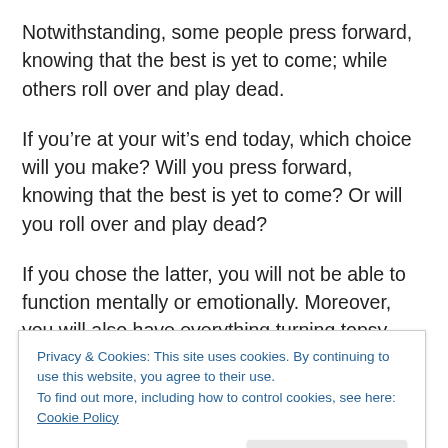Notwithstanding, some people press forward, knowing that the best is yet to come; while others roll over and play dead.
If you’re at your wit’s end today, which choice will you make? Will you press forward, knowing that the best is yet to come? Or will you roll over and play dead?
If you chose the latter, you will not be able to function mentally or emotionally. Moreover, you will also have everything turning topsy-turvy in your life. When you are confused and disoriented, you can’t think straight. As a
Privacy & Cookies: This site uses cookies. By continuing to use this website, you agree to their use.
To find out more, including how to control cookies, see here: Cookie Policy
Having done this, you should hold on a little longer and